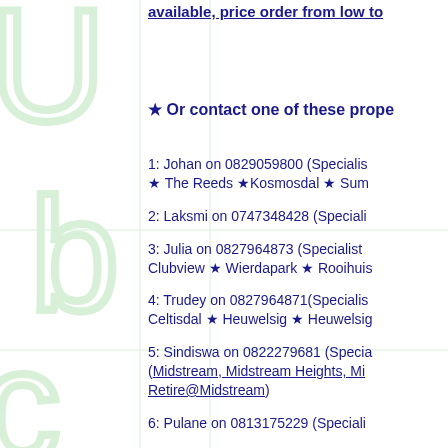available, price order from low to
★ Or contact one of these prope
1: Johan on 0829059800 (Specialist ★ The Reeds ★Kosmosdal ★ Sum
2: Laksmi on 0747348428 (Speciali
3: Julia on 0827964873 (Specialist Clubview ★ Wierdapark ★ Roohuis
4: Trudey on 0827964871(Specialist Celtisdal ★ Heuwelsig ★ Heuwelsig
5: Sindiswa on 0822279681 (Specialist (Midstream, Midstream Heights, Midstream Retire@Midstream)
6: Pulane on 0813175229 (Speciali